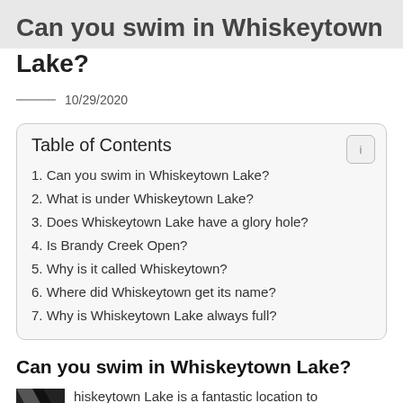Can you swim in Whiskeytown Lake?
10/29/2020
| Table of Contents |
| --- |
| 1. Can you swim in Whiskeytown Lake? |
| 2. What is under Whiskeytown Lake? |
| 3. Does Whiskeytown Lake have a glory hole? |
| 4. Is Brandy Creek Open? |
| 5. Why is it called Whiskeytown? |
| 6. Where did Whiskeytown get its name? |
| 7. Why is Whiskeytown Lake always full? |
Can you swim in Whiskeytown Lake?
hiskeytown Lake is a fantastic location to